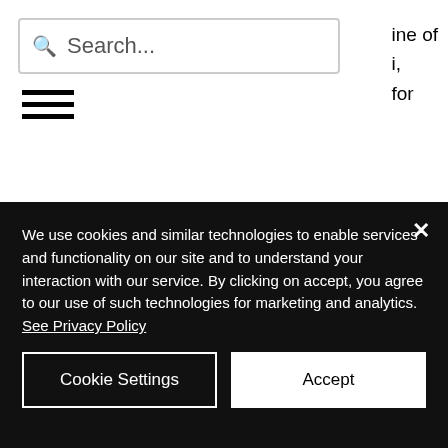Search...
ine of
i,
for
packaging and production of all sorts due to its cheap cost and what is viewed as convenience. While it may seem convenient to the consumer, it is well known that plastic is anything but favorable for the planet.
We use cookies and similar technologies to enable services and functionality on our site and to understand your interaction with our service. By clicking on accept, you agree to our use of such technologies for marketing and analytics. See Privacy Policy
Cookie Settings
Accept